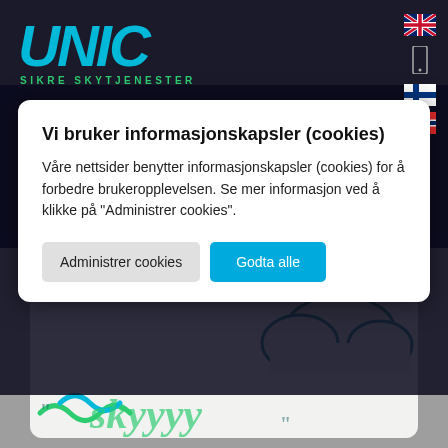[Figure (logo): UNIC logo with teal/cyan stylized letters and subtitle 'SIKRE SKYTJENESTER' in green]
[Figure (other): Navigation flags: UK flag, phone icon, Finnish flag, Norwegian flag in top right corner]
Vi bruker informasjonskapsler (cookies)
Våre nettsider benytter informasjonskapsler (cookies) for å forbedre brukeropplevelsen. Se mer informasjon ved å klikke på "Administrer cookies".
[Figure (screenshot): Cookie consent modal with two buttons: 'Administrer cookies' (gray) and 'Godta alle' (blue)]
[Figure (illustration): Partial illustration showing a cloud and decorative text/graphics on a gray-white card background at the bottom of the page]